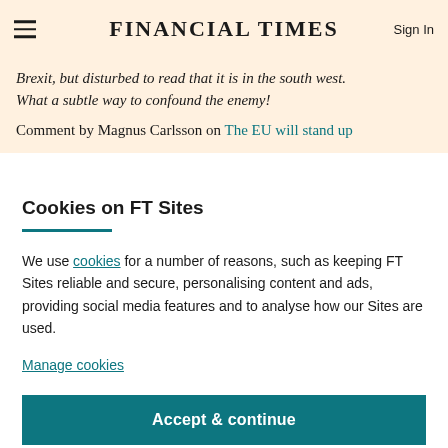FINANCIAL TIMES
Brexit, but disturbed to read that it is in the south west. What a subtle way to confound the enemy!
Comment by Magnus Carlsson on The EU will stand up
Cookies on FT Sites
We use cookies for a number of reasons, such as keeping FT Sites reliable and secure, personalising content and ads, providing social media features and to analyse how our Sites are used.
Manage cookies
Accept & continue